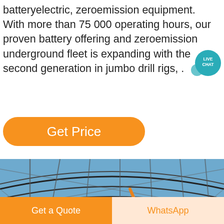batteryelectric, zeroemission equipment. With more than 75 000 operating hours, our proven battery offering and zeroemission underground fleet is expanding with the second generation in jumbo drill rigs, .
[Figure (other): Live Chat speech bubble icon — teal circle with white text LIVE CHAT]
[Figure (other): Orange rounded rectangle button labeled Get Price]
[Figure (photo): Industrial facility with steel framework roof structure, blue sky background, and CCM logo text with red star. White cylindrical structures visible, and an orange construction vehicle.]
[Figure (other): Dark circular arrow/navigation button on the right side of the photo]
[Figure (other): Bottom bar with two buttons: orange Get a Quote button and light orange WhatsApp button]